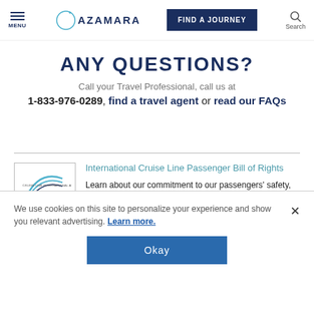MENU | AZAMARA | FIND A JOURNEY | Search
ANY QUESTIONS?
Call your Travel Professional, call us at 1-833-976-0289, find a travel agent or read our FAQs
[Figure (logo): CLIA Cruise Line International Association - Cruise Industry Passenger Bill of Rights badge]
International Cruise Line Passenger Bill of Rights
Learn about our commitment to our passengers' safety, comfort and care
We use cookies on this site to personalize your experience and show you relevant advertising. Learn more.
Okay